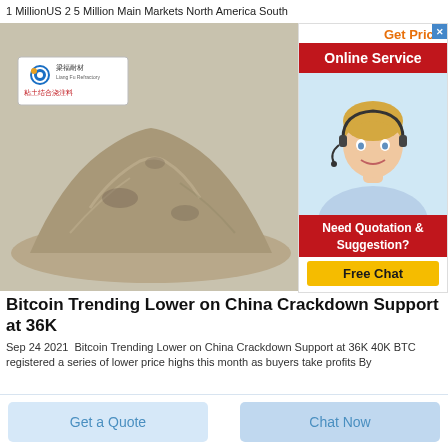1 MillionUS 2 5 Million Main Markets North America South
[Figure (photo): Product photo of a pile of gray/beige powder (clay bonding castable) with a Chinese product label card showing a logo and Chinese text (粘土结合浇注料)]
[Figure (infographic): Online service advertisement popup with red header 'Online Service', close button, photo of blonde female agent with headset, text 'Need Quotation & Suggestion?', yellow 'Free Chat' button, and orange 'Get Price' link]
Bitcoin Trending Lower on China Crackdown Support at 36K
Sep 24 2021  Bitcoin Trending Lower on China Crackdown Support at 36K 40K BTC registered a series of lower price highs this month as buyers take profits By
Get a Quote
Chat Now